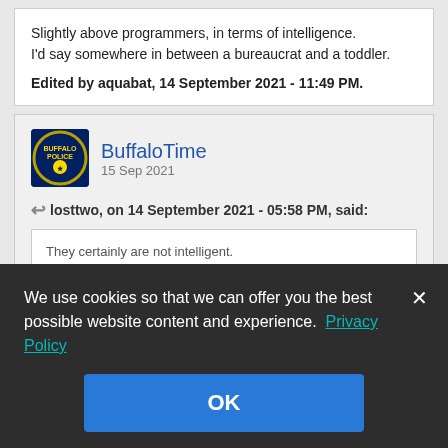Slightly above programmers, in terms of intelligence.
I'd say somewhere in between a bureaucrat and a toddler.

Edited by aquabat, 14 September 2021 - 11:49 PM.
BuffaloTime
15 Sep 2021
losttwo, on 14 September 2021 - 05:58 PM, said:
They certainly are not intelligent.
They are programmed and not self actualizing.
They do not learn to respond to stimuli
We use cookies so that we can offer you the best possible website content and experience. Privacy Policy
OK